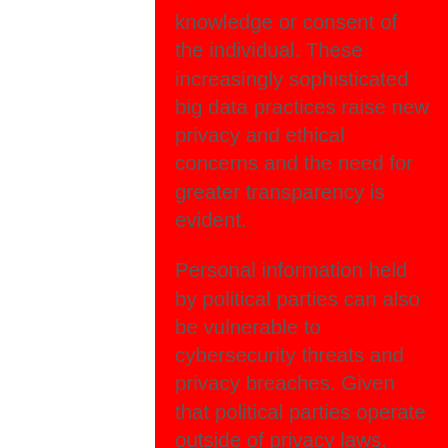knowledge or consent of the individual. These increasingly sophisticated big data practices raise new privacy and ethical concerns and the need for greater transparency is evident.
Personal information held by political parties can also be vulnerable to cybersecurity threats and privacy breaches. Given that political parties operate outside of privacy laws, there is little recourse for those impacted by a privacy breach. Subjecting Ontario's political parties to privacy regulation and oversight will help to address the privacy, ethical and